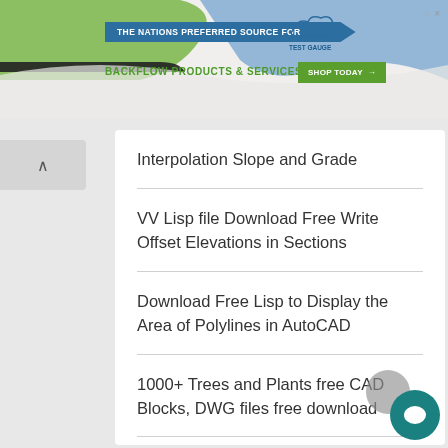[Figure (screenshot): Banner advertisement for Test Gauge Inc featuring 'THE NATIONS PREFERRED SOURCE FOR BACKFLOW PRODUCTS & SERVICES' with a green 'SHOP TODAY' button and logo, on a green and blue wave background.]
Interpolation Slope and Grade
VV Lisp file Download Free Write Offset Elevations in Sections
Download Free Lisp to Display the Area of Polylines in AutoCAD
1000+ Trees and Plants free CAD Blocks, DWG files free download
20 AutoCAD Commands to Speed Up Your Performance
10 Ways to Make Money From CAD Outsourcing | Auto CAD and Microstation